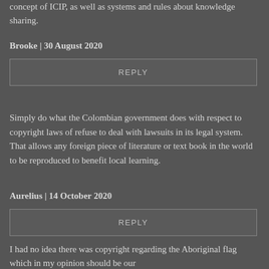concept of ICIP, as well as systems and rules about knowledge sharing.
Brooke | 30 August 2020
REPLY
Simply do what the Colombian government does with respect to copyright laws of refuse to deal with lawsuits in its legal system. That allows any foreign piece of literature or text book in the world to be reproduced to benefit local learning.
Aurelius | 14 October 2020
REPLY
I had no idea there was copyright regarding the Aboriginal flag which in my opinion should be our